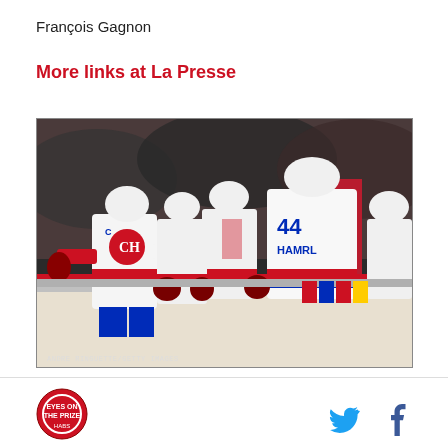François Gagnon
More links at La Presse
[Figure (photo): Montreal Canadiens hockey player wearing captain C jersey fist-bumping teammates at the bench, with player number 44 HAMRL visible. Photo credit: ANDRE RINGUETTE/GETTY IMAGES]
Logo icon, Twitter bird icon, Facebook f icon